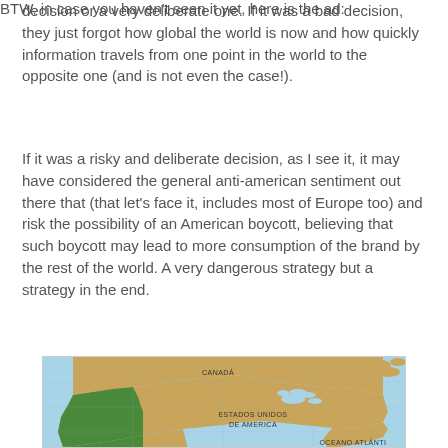decision or a very deliberate one. If it was a bad decision, they just forgot how global the world is now and how quickly information travels from one point in the world to the opposite one (and is not even the case!).
If it was a risky and deliberate decision, as I see it, it may have considered the general anti-american sentiment out there that (that let's face it, includes most of Europe too) and risk the possibility of an American boycott, believing that such boycott may lead to more consumption of the brand by the rest of the world. A very dangerous strategy but a strategy in the end.
BTW, in case you haven't seen it yet, here is the ad:
[Figure (map): Map of North America showing Canada, United States of America (Estados Unidos de America), with western US states highlighted in green, and the Atlantic Ocean (Oceano Atlanti...) visible. The map appears to be in Spanish labeling.]